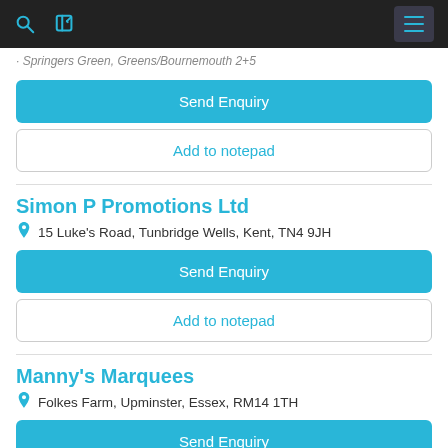Navigation bar with search, edit, and menu icons
· Springers Green, Greens/Bournemouth 2+5
Send Enquiry
Add to notepad
Simon P Promotions Ltd
15 Luke's Road, Tunbridge Wells, Kent, TN4 9JH
Send Enquiry
Add to notepad
Manny's Marquees
Folkes Farm, Upminster, Essex, RM14 1TH
Send Enquiry